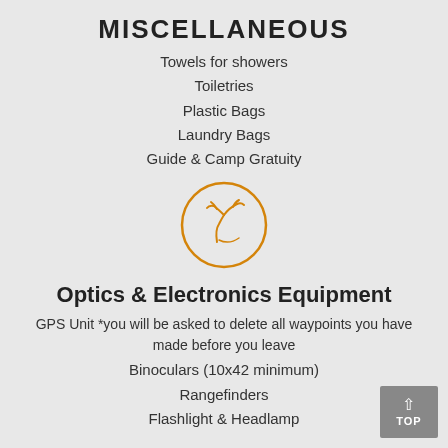MISCELLANEOUS
Towels for showers
Toiletries
Plastic Bags
Laundry Bags
Guide & Camp Gratuity
[Figure (logo): Circular orange deer/elk antler logo icon]
Optics & Electronics Equipment
GPS Unit *you will be asked to delete all waypoints you have made before you leave
Binoculars (10x42 minimum)
Rangefinders
Flashlight & Headlamp